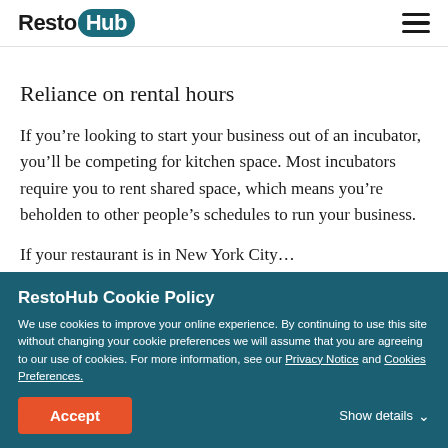RestoHub
Reliance on rental hours
If you’re looking to start your business out of an incubator, you’ll be competing for kitchen space. Most incubators require you to rent shared space, which means you’re beholden to other people’s schedules to run your business.
If your restaurant is in New York City…
RestoHub Cookie Policy
We use cookies to improve your online experience. By continuing to use this site without changing your cookie preferences we will assume that you are agreeing to our use of cookies. For more information, see our Privacy Notice and Cookies Preferences.
Accept   Show details